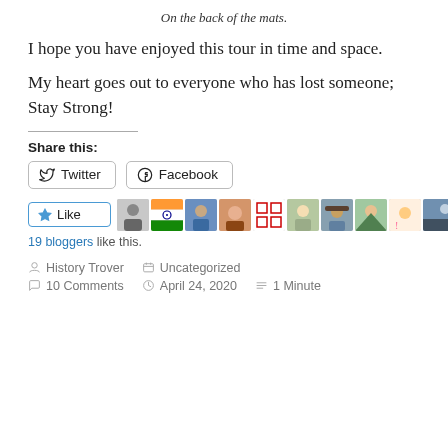On the back of the mats.
I hope you have enjoyed this tour in time and space.
My heart goes out to everyone who has lost someone; Stay Strong!
Share this:
Twitter | Facebook
Like | 19 bloggers like this.
History Trover   Uncategorized   10 Comments   April 24, 2020   1 Minute